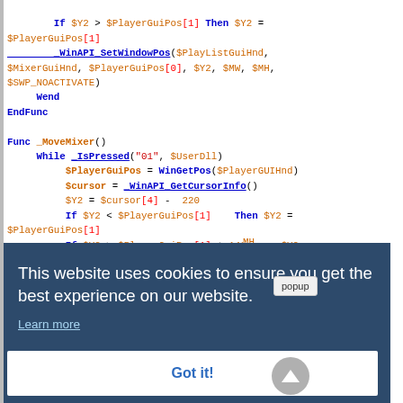[Figure (screenshot): Screenshot of a code editor showing AutoIt script with syntax highlighting (blue keywords, orange variables/functions, red strings/indices), overlaid by a cookie consent popup dialog with dark blue background containing 'This website uses cookies to ensure you get the best experience on our website.', a 'Learn more' link, and a 'Got it!' button.]